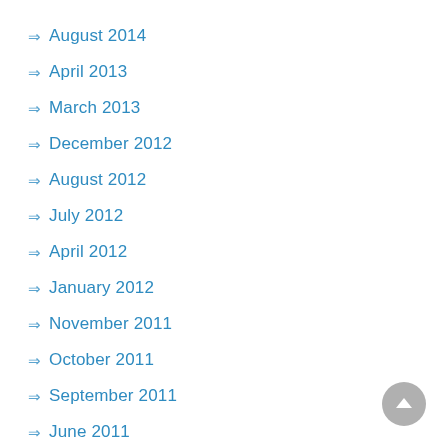August 2014
April 2013
March 2013
December 2012
August 2012
July 2012
April 2012
January 2012
November 2011
October 2011
September 2011
June 2011
May 2011